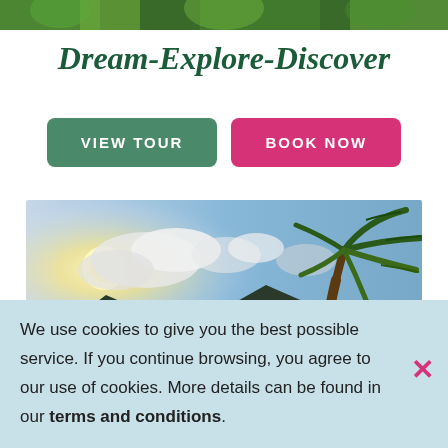[Figure (photo): Top strip showing greenery/waterfall at the top of the page]
Dream-Explore-Discover
[Figure (other): VIEW TOUR button (teal/green rounded rectangle)]
[Figure (other): BOOK NOW button (pink/magenta rounded rectangle)]
[Figure (photo): Tropical beach photo showing palm tree, mountains, dramatic sky with sunlight and clouds]
We use cookies to give you the best possible service. If you continue browsing, you agree to our use of cookies. More details can be found in our terms and conditions.